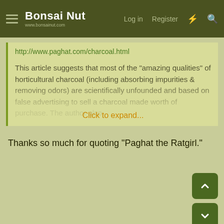Bonsai Nut | www.bonsainut.com | Log in | Register
http://www.paghat.com/charcoal.html
This article suggests that most of the "amazing qualities" of horticultural charcoal (including absorbing impurities & removing odors) are scientifically unfounded and based on false advertising to sell a charcoal made worth of purchase. The author also Click to expand...
Thanks so much for quoting "Paghat the Ratgirl."